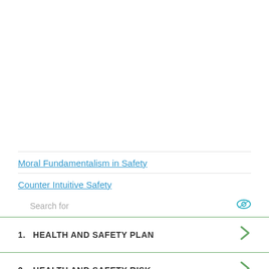Moral Fundamentalism in Safety
Counter Intuitive Safety
Search for
1.  HEALTH AND SAFETY PLAN
2.  HEALTH AND SAFETY RISK